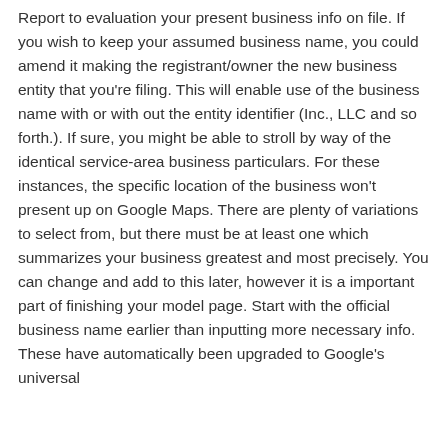Report to evaluation your present business info on file. If you wish to keep your assumed business name, you could amend it making the registrant/owner the new business entity that you're filing. This will enable use of the business name with or with out the entity identifier (Inc., LLC and so forth.). If sure, you might be able to stroll by way of the identical service-area business particulars. For these instances, the specific location of the business won't present up on Google Maps. There are plenty of variations to select from, but there must be at least one which summarizes your business greatest and most precisely. You can change and add to this later, however it is a important part of finishing your model page. Start with the official business name earlier than inputting more necessary info. These have automatically been upgraded to Google's universal